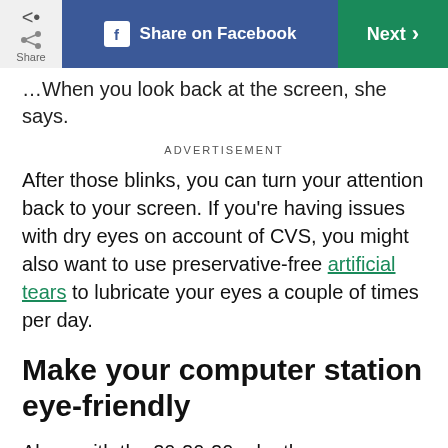Share | Share on Facebook | Next
...When you look back at the screen, she says.
ADVERTISEMENT
After those blinks, you can turn your attention back to your screen. If you're having issues with dry eyes on account of CVS, you might also want to use preservative-free artificial tears to lubricate your eyes a couple of times per day.
Make your computer station eye-friendly
Along with the 20-20-20 rule, there are